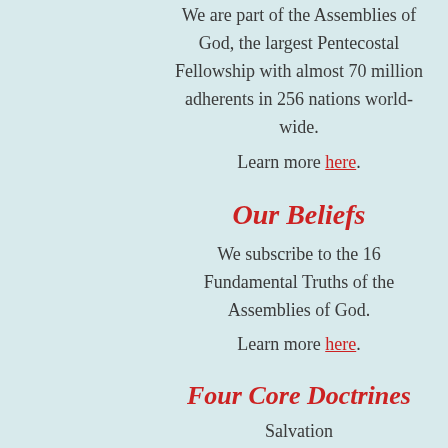We are part of the Assemblies of God, the largest Pentecostal Fellowship with almost 70 million adherents in 256 nations world-wide. Learn more here.
Our Beliefs
We subscribe to the 16 Fundamental Truths of the Assemblies of God. Learn more here.
Four Core Doctrines
Salvation
Divine Healing